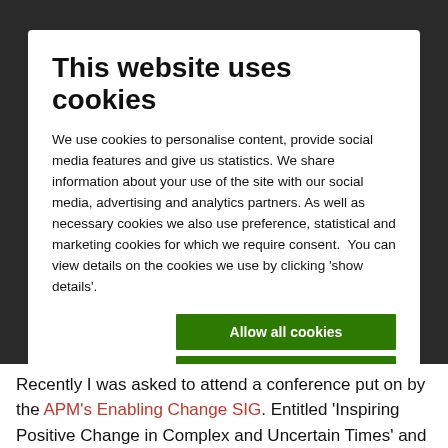This website uses cookies
We use cookies to personalise content, provide social media features and give us statistics. We share information about your use of the site with our social media, advertising and analytics partners. As well as necessary cookies we also use preference, statistical and marketing cookies for which we require consent.  You can view details on the cookies we use by clicking 'show details'.
Allow all cookies
Allow selection
Use necessary cookies only
Necessary  Preferences  Statistics  Marketing  Show details
Recently I was asked to attend a conference put on by the APM's Enabling Change SIG. Entitled 'Inspiring Positive Change in Complex and Uncertain Times' and